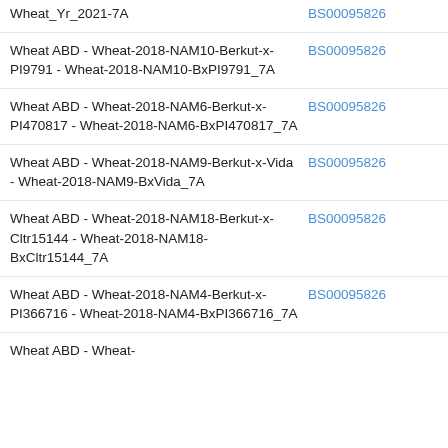Wheat_Yr_2021-7A | BS00095826
Wheat ABD - Wheat-2018-NAM10-Berkut-x-PI9791 - Wheat-2018-NAM10-BxPI9791_7A | BS00095826
Wheat ABD - Wheat-2018-NAM6-Berkut-x-PI470817 - Wheat-2018-NAM6-BxPI470817_7A | BS00095826
Wheat ABD - Wheat-2018-NAM9-Berkut-x-Vida - Wheat-2018-NAM9-BxVida_7A | BS00095826
Wheat ABD - Wheat-2018-NAM18-Berkut-x-Cltr15144 - Wheat-2018-NAM18-BxCltr15144_7A | BS00095826
Wheat ABD - Wheat-2018-NAM4-Berkut-x-PI366716 - Wheat-2018-NAM4-BxPI366716_7A | BS00095826
Wheat ABD - Wheat-...